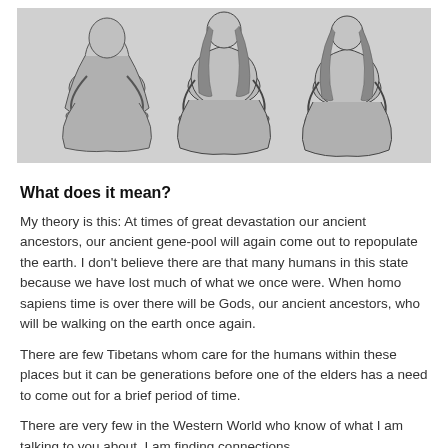[Figure (illustration): Pencil sketch drawing of three figures seated cross-legged in meditation poses, shown from torso up, with long hair, in a row.]
What does it mean?
My theory is this: At times of great devastation our ancient ancestors, our ancient gene-pool will again come out to repopulate the earth. I don't believe there are that many humans in this state because we have lost much of what we once were. When homo sapiens time is over there will be Gods, our ancient ancestors, who will be walking on the earth once again.
There are few Tibetans whom care for the humans within these places but it can be generations before one of the elders has a need to come out for a brief period of time.
There are very few in the Western World who know of what I am talking to you about. I am finding connections